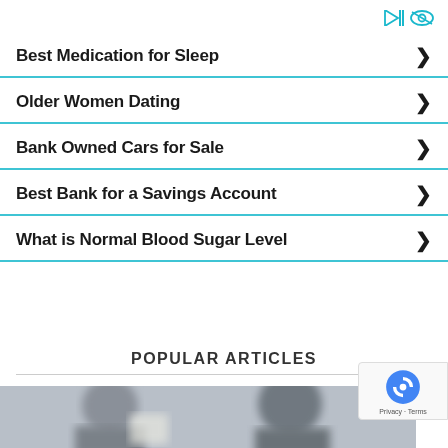[Figure (other): Two small teal icons (play/forward and eye/view) in top right corner, indicating ad controls]
Best Medication for Sleep
Older Women Dating
Bank Owned Cars for Sale
Best Bank for a Savings Account
What is Normal Blood Sugar Level
POPULAR ARTICLES
[Figure (photo): Blurred photo of two people, presumably an article thumbnail]